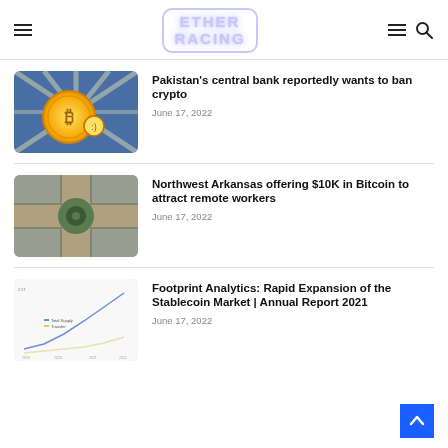ETHER RACING
[Figure (illustration): Cartoon crypto coin character with colorful rays of light in background]
Pakistan's central bank reportedly wants to ban crypto
June 17, 2022
[Figure (photo): Aerial view of a roundabout or plaza with green landscape and buildings]
Northwest Arkansas offering $10K in Bitcoin to attract remote workers
June 17, 2022
[Figure (line-chart): Line chart showing Footprint Analytics stablecoin market growth data]
Footprint Analytics: Rapid Expansion of the Stablecoin Market | Annual Report 2021
June 17, 2022